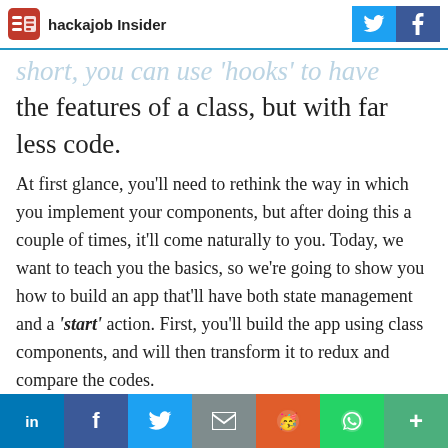hackajob Insider
…short, you can use 'hooks' to have the features of a class, but with far less code.
At first glance, you'll need to rethink the way in which you implement your components, but after doing this a couple of times, it'll come naturally to you. Today, we want to teach you the basics, so we're going to show you how to build an app that'll have both state management and a 'start' action. First, you'll build the app using class components, and will then transform it to redux and compare the codes.
in f twitter email reddit whatsapp +